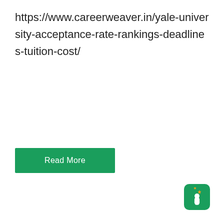https://www.careerweaver.in/yale-university-acceptance-rate-rankings-deadlines-tuition-cost/
Read More
[Figure (logo): CareerWeaver logo: green rounded square with white plant/leaf figure and orange star accent]